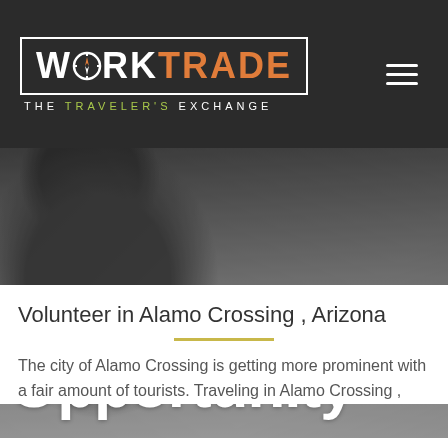[Figure (logo): WorkTrade logo with compass icon replacing the O, tagline THE TRAVELER'S EXCHANGE, on dark background with hamburger menu icon]
[Figure (photo): Hero section showing a young man with glasses and a hat, with large white text overlay reading 'Your Unique Opportunity']
Your Unique Opportunity
Volunteer in Alamo Crossing , Arizona
The city of Alamo Crossing is getting more prominent with a fair amount of tourists. Traveling in Alamo Crossing ,